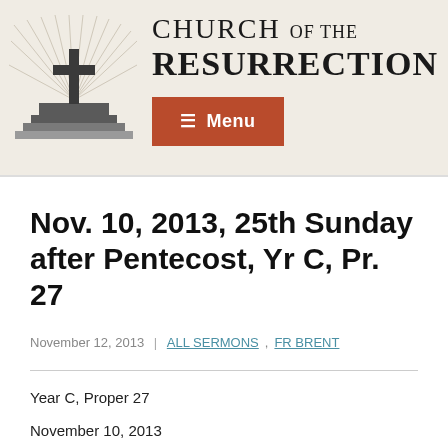[Figure (logo): Church of the Resurrection logo with cross on pedestal and radiating rays, alongside the text 'CHURCH OF THE RESURRECTION' and a red-orange Menu button with hamburger icon]
Nov. 10, 2013, 25th Sunday after Pentecost, Yr C, Pr. 27
November 12, 2013 | ALL SERMONS , FR BRENT
Year C, Proper 27
November 10, 2013